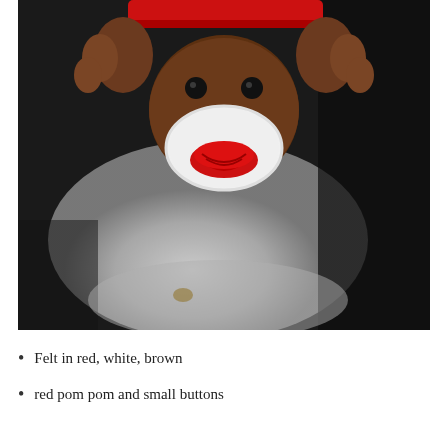[Figure (photo): Close-up photo of a sock monkey figurine being held up by brown hands. The sock monkey has black button eyes, a red headband/hat brim, and a white oval face with a red curved smile/mouth. The background is blurred showing a white/grey shape against a dark background.]
Felt in red, white, brown
red pom pom and small buttons